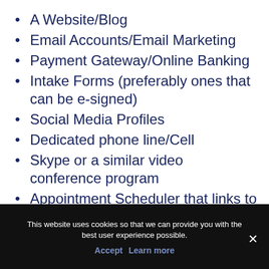A Website/Blog
Email Accounts/Email Marketing
Payment Gateway/Online Banking
Intake Forms (preferably ones that can be e-signed)
Social Media Profiles
Dedicated phone line/Cell
Skype or a similar video conference program
Appointment Scheduler that links to a gmail calendar
This website uses cookies so that we can provide you with the best user experience possible. Accept Learn more